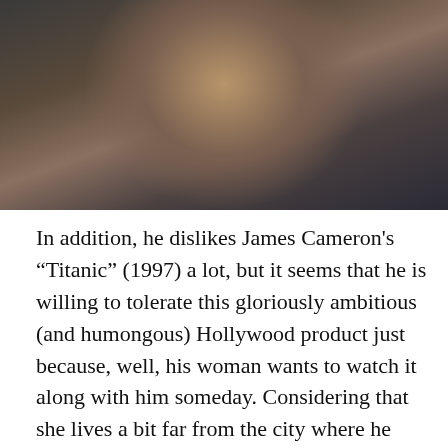[Figure (photo): Close-up photo of a man's face with mouth slightly open, dark jacket, blurred colorful background]
In addition, he dislikes James Cameron’s “Titanic” (1997) a lot, but it seems that he is willing to tolerate this gloriously ambitious (and humongous) Hollywood product just because, well, his woman wants to watch it along with him someday. Considering that she lives a bit far from the city where he resides, their wish looks rather improbable, but then something unexpected occurs later. Her medical condition suddenly becomes quite worse than before, and that reminds Jaakko more of how both she and he are running out of time as coping with any possibility of death day by day. In the end, he comes to decide that he must go to her residence right now for watching several movies